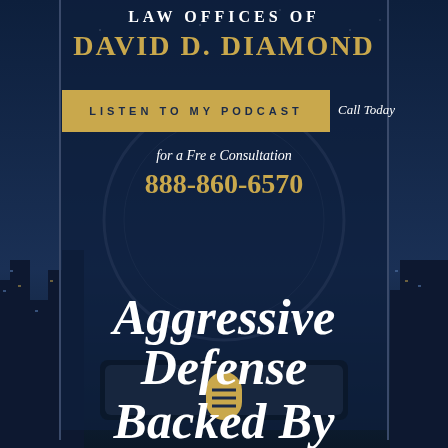LAW OFFICES OF
DAVID D. DIAMOND
LISTEN TO MY PODCAST
Call Today
for a Fre e Consultation
888-860-6570
Aggressive Defense Backed By